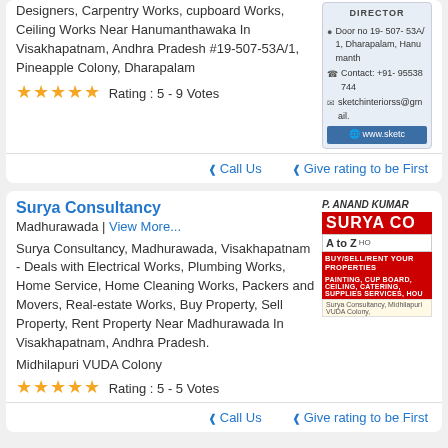Designers, Carpentry Works, cupboard Works, Ceiling Works Near Hanumanthawaka In Visakhapatnam, Andhra Pradesh #19-507-53A/1, Pineapple Colony, Dharapalam Rating : 5 - 9 Votes
Call Us   Give rating to be First
Surya Consultancy
Madhurawada | View More...
Surya Consultancy, Madhurawada, Visakhapatnam - Deals with Electrical Works, Plumbing Works, Home Service, Home Cleaning Works, Packers and Movers, Real-estate Works, Buy Property, Sell Property, Rent Property Near Madhurawada In Visakhapatnam, Andhra Pradesh.
Midhilapuri VUDA Colony
Rating : 5 - 5 Votes
Call Us   Give rating to be First